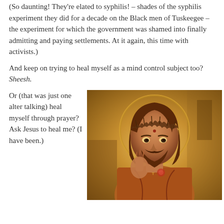(So daunting!  They're elated to syphilis! – shades of the syphilis experiment they did for a decade on the Black men of Tuskeegee – the experiment for which the government was shamed into finally admitting and paying settlements.  At it again, this time with activists.)
And keep on trying to heal myself as a mind control subject too?  Sheesh.
Or (that was just one alter talking) heal myself through prayer?  Ask Jesus to heal me?  (I have been.)
[Figure (illustration): A religious icon-style painting of Jesus Christ wearing a crown of thorns, with a halo behind his head, making a blessing gesture with one hand and wearing robes. The image has a warm golden-brown sepia tone typical of religious iconography.]